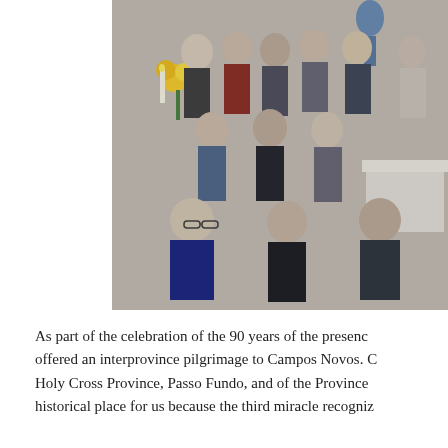[Figure (photo): Group photo of approximately 15-17 women (religious sisters) gathered indoors in front of what appears to be a chapel or prayer room. A blue and white statue of the Virgin Mary is visible in the background. Some women are seated in the front row, others standing. Sunflowers and candles are visible on the left side.]
As part of the celebration of the 90 years of the presence, offered an interprovince pilgrimage to Campos Novos. Holy Cross Province, Passo Fundo, and of the Province, historical place for us because the third miracle recogniz